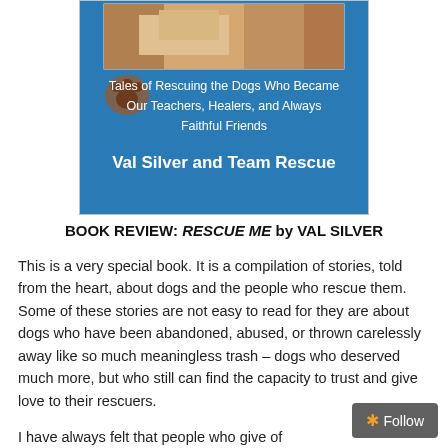[Figure (photo): Book cover for 'Rescue Me' featuring a blue background with a dog photo at top, paw print icon, subtitle text 'Tales of Rescuing the Dogs Who Became Our Teachers, Healers, and Always Faithful Friends' and author name 'Val Silver and Team Rescue']
BOOK REVIEW: RESCUE ME by VAL SILVER
This is a very special book. It is a compilation of stories, told from the heart, about dogs and the people who rescue them. Some of these stories are not easy to read for they are about dogs who have been abandoned, abused, or thrown carelessly away like so much meaningless trash – dogs who deserved much more, but who still can find the capacity to trust and give love to their rescuers.
I have always felt that people who give of their heart...